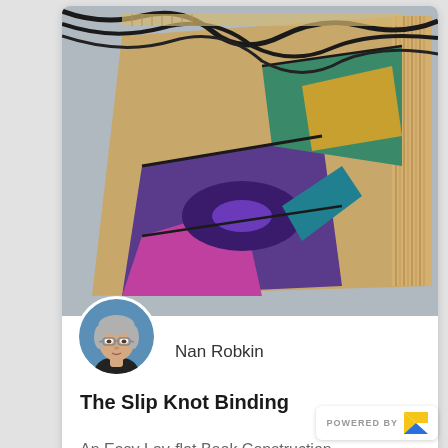[Figure (photo): Cover image of a book with colorful geometric design on cardboard binding with black cord/string on top, viewed at an angle]
[Figure (photo): Circular avatar photo of Nan Robkin, an older woman with short gray hair and glasses, against a blue background]
Nan Robkin
The Slip Knot Binding
An Easy Lay-flat Book Construction
[Figure (logo): POWERED BY Z — logo with yellow and blue Z icon]